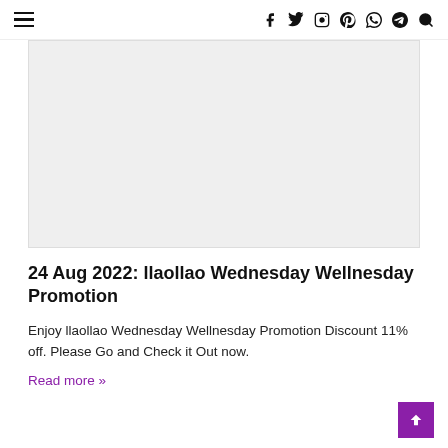≡  f  Twitter  Instagram  Pinterest  WhatsApp  Telegram  Search
[Figure (other): Light gray image placeholder rectangle]
24 Aug 2022: llaollao Wednesday Wellnesday Promotion
Enjoy llaollao Wednesday Wellnesday Promotion Discount 11% off. Please Go and Check it Out now.
Read more »